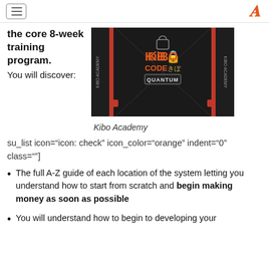Navigation header with hamburger menu and logo
the core 8-week training program. You will discover:
[Figure (photo): Kibo Code Quantum product box set on dark background]
Kibo Academy
su_list icon="icon: check" icon_color="orange" indent="0" class=""]
The full A-Z guide of each location of the system letting you understand how to start from scratch and begin making money as soon as possible
You will understand how to begin to developing your